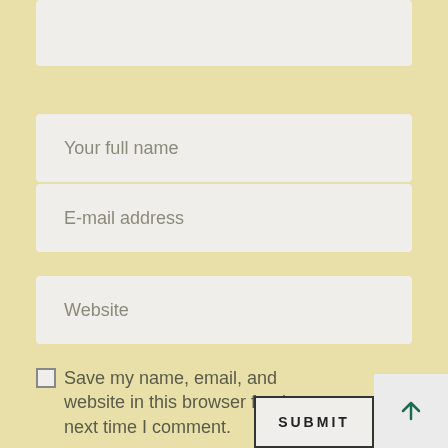[Figure (screenshot): Top portion of a form text area (cropped, no placeholder visible)]
Your full name
E-mail address
Website
Save my name, email, and website in this browser for the next time I comment.
SUBMIT